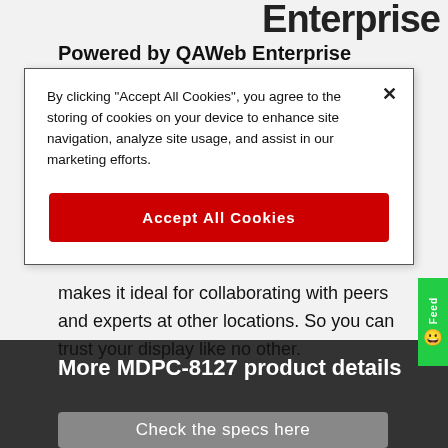Enterprise
Powered by QAWeb Enterprise
By clicking “Accept All Cookies”, you agree to the storing of cookies on your device to enhance site navigation, analyze site usage, and assist in our marketing efforts.
[Figure (screenshot): Red 'Accept All Cookies' button inside a cookie consent dialog overlay]
makes it ideal for collaborating with peers and experts at other locations. So you can trust your display like no other.
More MDPC-8127 product details
Check the specs here